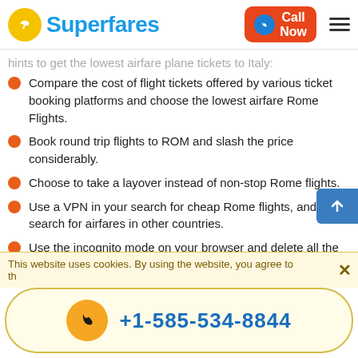Superfares | Call Now
hints to get the lowest airfare plane tickets to Italy:
Compare the cost of flight tickets offered by various ticket booking platforms and choose the lowest airfare Rome Flights.
Book round trip flights to ROM and slash the price considerably.
Choose to take a layover instead of non-stop Rome flights.
Use a VPN in your search for cheap Rome flights, and search for airfares in other countries.
Use the incognito mode on your browser and delete all the cookies to avoid price hikes when you are searching for your flights.
This website uses cookies. By using the website, you agree to the
+1-585-534-8844